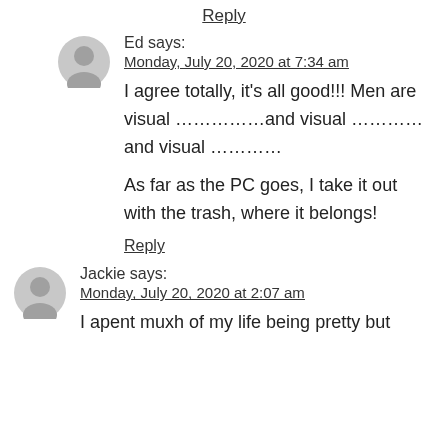Reply
Ed says:
Monday, July 20, 2020 at 7:34 am
I agree totally, it's all good!!! Men are visual ……………and visual ………… and visual …………
As far as the PC goes, I take it out with the trash, where it belongs!
Reply
Jackie says:
Monday, July 20, 2020 at 2:07 am
I apent muxh of my life being pretty but